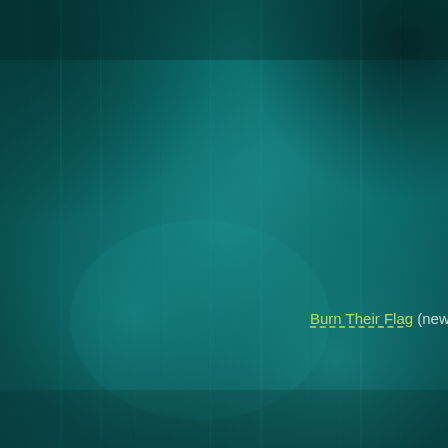[Figure (illustration): Teal/teal-blue textured background resembling fabric or brushed material, with variations in tone — darker teal in corners and lighter patches in the center and lower areas.]
Couldn't load plugin.
Burn Their Flag (new song!!)